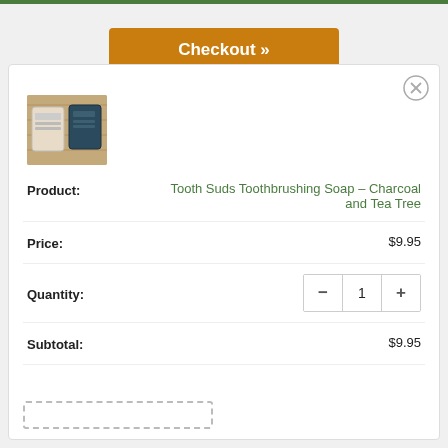[Figure (screenshot): Green progress bar at top of page]
Checkout »
[Figure (photo): Product photo showing two small soap bars on a wooden surface]
Product: Tooth Suds Toothbrushing Soap - Charcoal and Tea Tree
Price: $9.95
Quantity: 1
Subtotal: $9.95